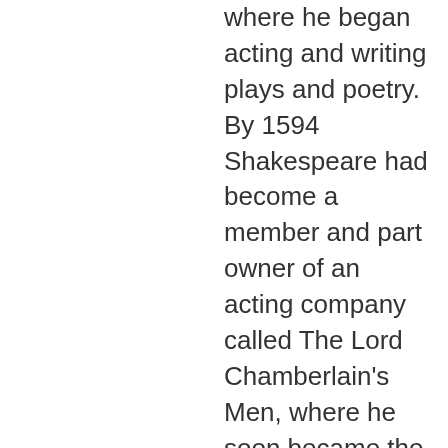where he began acting and writing plays and poetry. By 1594 Shakespeare had become a member and part owner of an acting company called The Lord Chamberlain's Men, where he soon became the company's principal playwright. His plays enjoyed great popularity and high critical acclaim in the newly built Globe Theatre. It was through his popularity that the troupe gained the attention of the new king, James I, who appointed them the King's Players in 1603. Before retiring to Stratford in 1613, after the Globe burned down, he wrote more than three